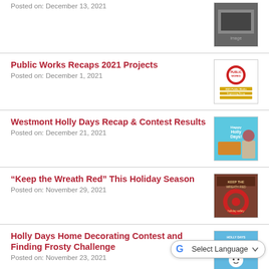Posted on: December 13, 2021
Public Works Recaps 2021 Projects
Posted on: December 1, 2021
Westmont Holly Days Recap & Contest Results
Posted on: December 21, 2021
“Keep the Wreath Red” This Holiday Season
Posted on: November 29, 2021
Holly Days Home Decorating Contest and Finding Frosty Challenge
Posted on: November 23, 2021
2021 Holly Days Schedule
Posted on: November 19, 2021